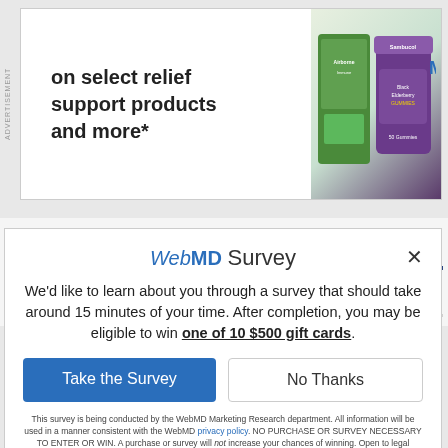[Figure (screenshot): Advertisement banner showing 'on select relief support products and more*' with product images on the right (green and purple supplement bottles)]
[Figure (screenshot): WebMD page partial view with scroll arrow indicator and 'SIDE EFFECTS' section header with flower logo in pink/salmon color]
WebMD Survey
We'd like to learn about you through a survey that should take around 15 minutes of your time. After completion, you may be eligible to win one of 10 $500 gift cards.
Take the Survey
No Thanks
This survey is being conducted by the WebMD Marketing Research department. All information will be used in a manner consistent with the WebMD privacy policy. NO PURCHASE OR SURVEY NECESSARY TO ENTER OR WIN. A purchase or survey will not increase your chances of winning. Open to legal residents of the fifty (50) United States, and the District of Columbia (DC) who are age 18 or older, and to whom this offer is addressed. Sweepstakes starts at 12:00:01 AM ET on 1/24/22 and ends at 11:59:59 PM ET on 12/31/22. See Official Rules for complete details and alternate method of entry. Void where prohibited. SPONSOR: WebMD LLC.